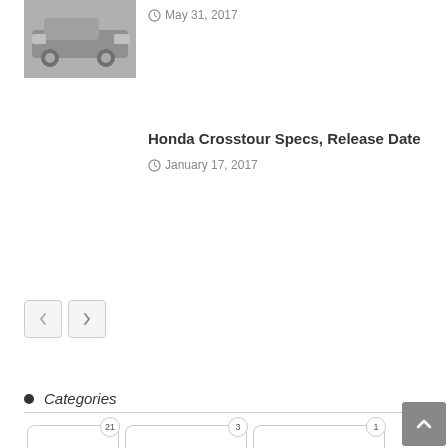[Figure (photo): Car thumbnail image in grayscale]
May 31, 2017
Honda Crosstour Specs, Release Date
January 17, 2017
[Figure (other): Pagination buttons: previous (left arrow) and next (right arrow)]
Categories
Acura 21
Alfa Romeo 3
Aston Martin 1
Audi 46
Bentley 1
BMW 41
Buick 19
Cadillac 23
Chevrolet 45
Chrysler 7